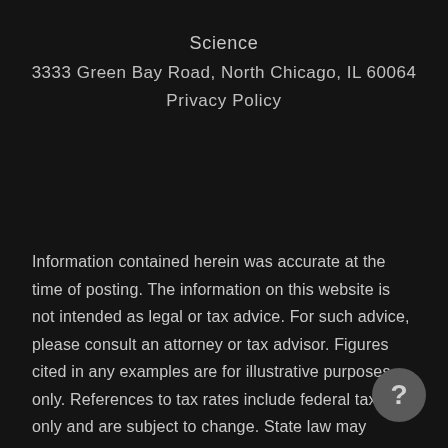Science
3333 Green Bay Road, North Chicago, IL 60064
Privacy Policy
Information contained herein was accurate at the time of posting. The information on this website is not intended as legal or tax advice. For such advice, please consult an attorney or tax advisor. Figures cited in any examples are for illustrative purposes only. References to tax rates include federal taxes only and are subject to change. State law may further impact your individual results.